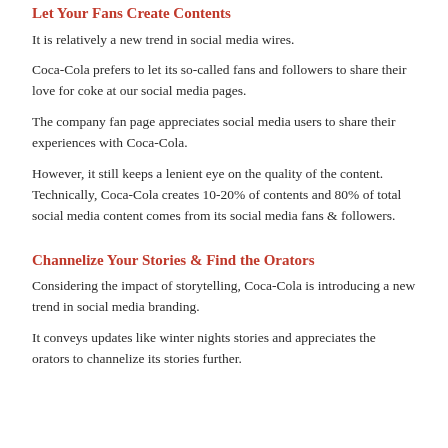Let Your Fans Create Contents
It is relatively a new trend in social media wires.
Coca-Cola prefers to let its so-called fans and followers to share their love for coke at our social media pages.
The company fan page appreciates social media users to share their experiences with Coca-Cola.
However, it still keeps a lenient eye on the quality of the content. Technically, Coca-Cola creates 10-20% of contents and 80% of total social media content comes from its social media fans & followers.
Channelize Your Stories & Find the Orators
Considering the impact of storytelling, Coca-Cola is introducing a new trend in social media branding.
It conveys updates like winter nights stories and appreciates the orators to channelize its stories further.